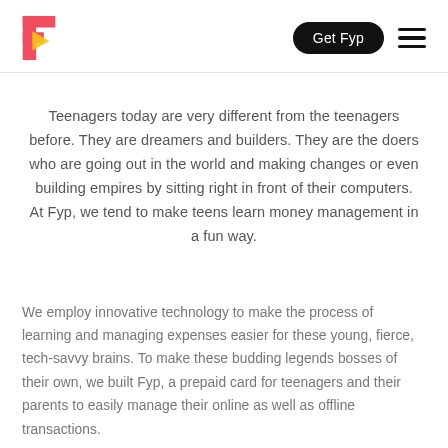Fyp logo | Get Fyp | menu
Teenagers today are very different from the teenagers before. They are dreamers and builders. They are the doers who are going out in the world and making changes or even building empires by sitting right in front of their computers. At Fyp, we tend to make teens learn money management in a fun way.
We employ innovative technology to make the process of learning and managing expenses easier for these young, fierce, tech-savvy brains. To make these budding legends bosses of their own, we built Fyp, a prepaid card for teenagers and their parents to easily manage their online as well as offline transactions.